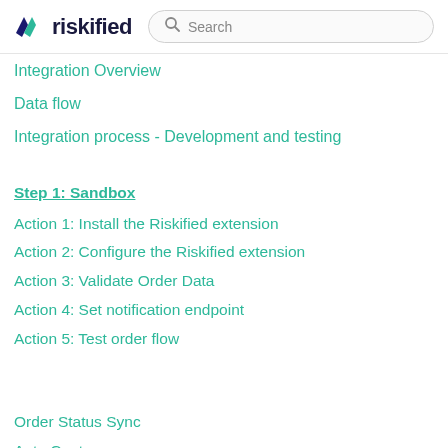riskified  Search
Integration Overview
Data flow
Integration process - Development and testing
Step 1: Sandbox
Action 1: Install the Riskified extension
Action 2: Configure the Riskified extension
Action 3: Validate Order Data
Action 4: Set notification endpoint
Action 5: Test order flow
Order Status Sync
Auto Capture